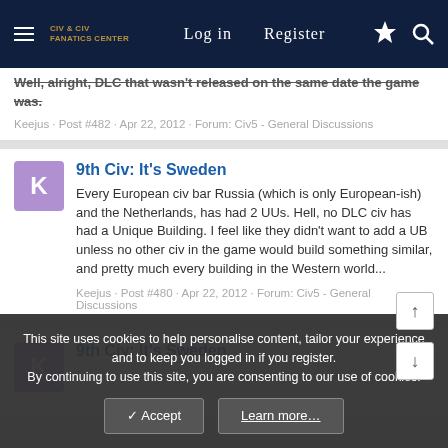Log in  Register
Well, alright, DLC that wasn't released on the same date the game was.
Keejus · Post #482 · Apr 22, 2012 · Forum: Civ5 - General Discussions
9th Civ: It's Sweden
Every European civ bar Russia (which is only European-ish) and the Netherlands, has had 2 UUs. Hell, no DLC civ has had a Unique Building. I feel like they didn't want to add a UB unless no other civ in the game would build something similar, and pretty much every building in the Western world...
Keejus · Post #480 · Apr 22, 2012 · Forum: Civ5 - General Discussions
9th Civ: It's Sweden
This site uses cookies to help personalise content, tailor your experience and to keep you logged in if you register.
By continuing to use this site, you are consenting to our use of cookies.
✓ Accept   Learn more…